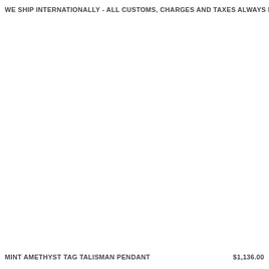WE SHIP INTERNATIONALLY - ALL CUSTOMS, CHARGES AND TAXES ALWAYS INCLUD
MINT AMETHYST TAG TALISMAN PENDANT    $1,136.00